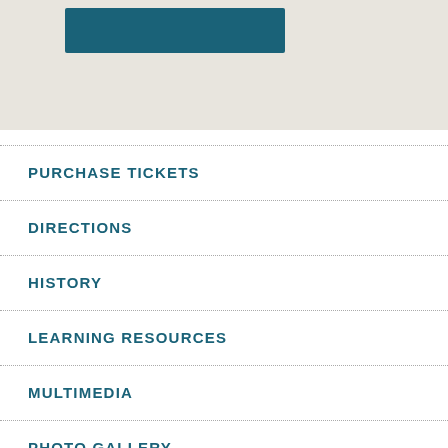[Figure (other): Top banner area with beige/tan background containing a dark teal blue button/rectangle element]
PURCHASE TICKETS
DIRECTIONS
HISTORY
LEARNING RESOURCES
MULTIMEDIA
PHOTO GALLERY
VOLUNTEERING IN LINCOLN